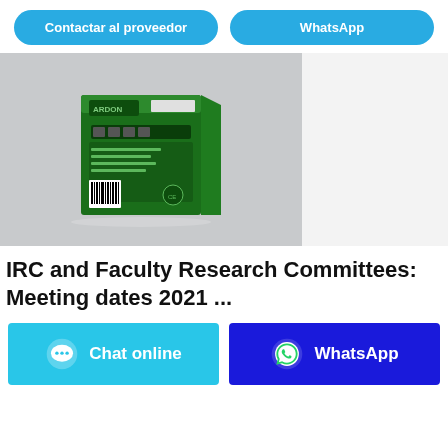[Figure (other): Two rounded blue buttons labeled 'Contactar al proveedor' and 'WhatsApp' at the top of the page]
[Figure (photo): Product photo showing the back of a green pesticide/insecticide box on a light grey background]
IRC and Faculty Research Committees: Meeting dates 2021 ...
[Figure (other): Two bottom action buttons: cyan 'Chat online' button with chat bubble icon on the left, and dark blue 'WhatsApp' button with WhatsApp logo icon on the right]